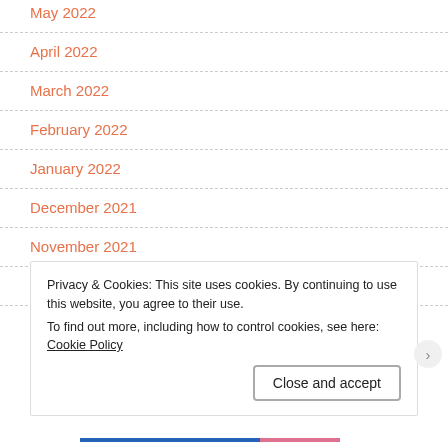May 2022
April 2022
March 2022
February 2022
January 2022
December 2021
November 2021
October 2021
Privacy & Cookies: This site uses cookies. By continuing to use this website, you agree to their use.
To find out more, including how to control cookies, see here: Cookie Policy
Close and accept